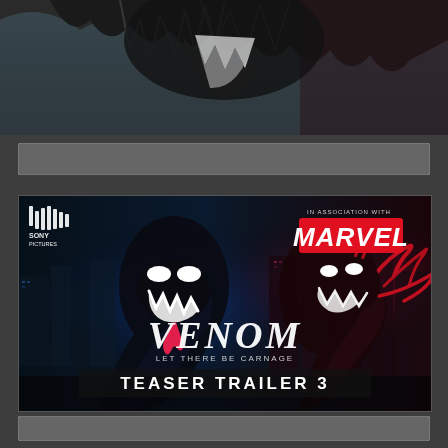[Figure (photo): Dark creature/monster close-up image at top of page - Venom character]
[Figure (screenshot): Venom: Let There Be Carnage - Teaser Trailer 3 thumbnail. Shows Venom (black) and Carnage (red) characters facing off in a city at night. Sony Pictures logo bottom left, Marvel logo top right, text 'IN ASSOCIATION WITH MARVEL', movie title 'VENOM LET THERE BE CARNAGE' and 'TEASER TRAILER 3' at bottom.]